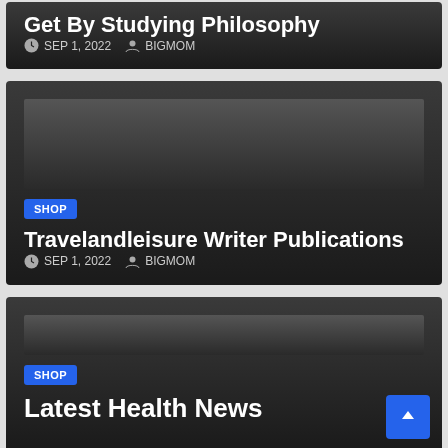Get By Studying Philosophy
SEP 1, 2022  BIGMOM
SHOP
Travelandleisure Writer Publications
SEP 1, 2022  BIGMOM
SHOP
Latest Health News